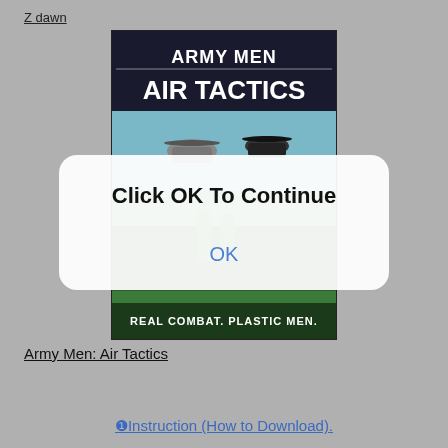Z dawn
[Figure (screenshot): Army Men: Air Tactics game cover showing military helicopters and plastic army men with text 'ARMY MEN AIR TACTICS' and subtitle 'REAL COMBAT. PLASTIC MEN.']
[Figure (screenshot): Dialog box overlay with white semi-transparent rounded rectangle containing bold text 'Click OK To Continue' and blue 'OK' button text]
Army Men: Air Tactics
❶Instruction (How to Download).